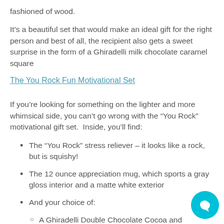fashioned of wood.
It’s a beautiful set that would make an ideal gift for the right person and best of all, the recipient also gets a sweet surprise in the form of a Ghiradelli milk chocolate caramel square
The You Rock Fun Motivational Set
If you’re looking for something on the lighter and more whimsical side, you can’t go wrong with the “You Rock” motivational gift set.  Inside, you’ll find:
The “You Rock” stress reliever – it looks like a rock, but is squishy!
The 12 ounce appreciation mug, which sports a gray gloss interior and a matte white exterior
And your choice of:
A Ghiradelli Double Chocolate Cocoa and Chocolate